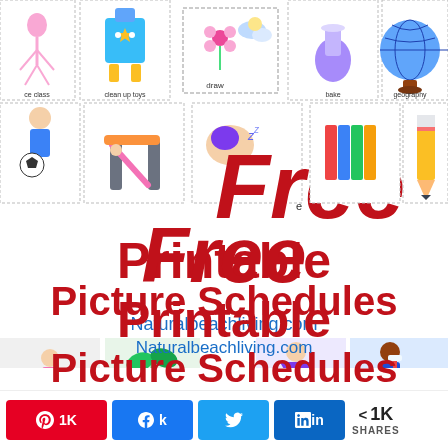[Figure (illustration): Collage of free printable picture schedule cards for children showing icons like a ballerina, robot, flower, globe, boy with soccer ball, playground, books, pencil, and more. Words visible include: ce class, clean up toys, draw, bake, geography, ma.]
Free Printable Picture Schedules
Naturalbeachliving.com
[Figure (illustration): Bottom strip showing children activity thumbnails: girl on bike, plant seedling, child with princess costume, child brushing teeth.]
1K  k  (twitter bird)  in  < 1K SHARES